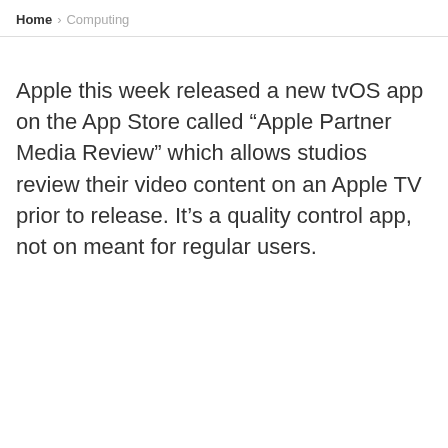Home > Computing
Apple this week released a new tvOS app on the App Store called “Apple Partner Media Review” which allows studios review their video content on an Apple TV prior to release. It’s a quality control app, not on meant for regular users.